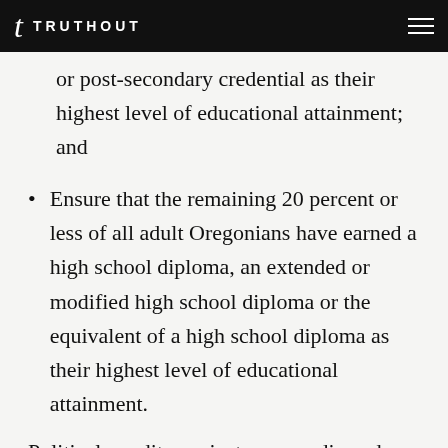TRUTHOUT
or post-secondary credential as their highest level of educational attainment; and
Ensure that the remaining 20 percent or less of all adult Oregonians have earned a high school diploma, an extended or modified high school diploma or the equivalent of a high school diploma as their highest level of educational attainment.
Political pundits, mainstream media and corporate-funded education advocacy groups,